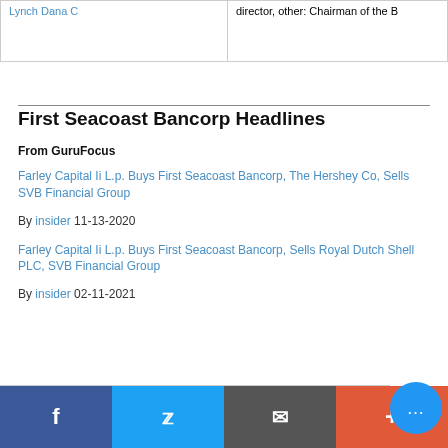| Name | Role |
| --- | --- |
| Lynch Dana C | director, other: Chairman of the B |
First Seacoast Bancorp Headlines
From GuruFocus
Farley Capital Ii L.p. Buys First Seacoast Bancorp, The Hershey Co, Sells SVB Financial Group
By insider 11-13-2020
Farley Capital Ii L.p. Buys First Seacoast Bancorp, Sells Royal Dutch Shell PLC, SVB Financial Group
By insider 02-11-2021
Facebook Twitter Email Share